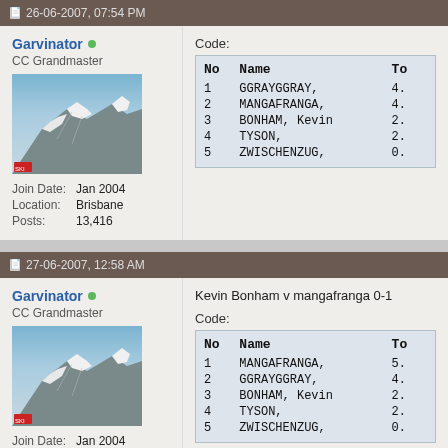26-06-2007, 07:54 PM
Garvinator
CC Grandmaster
Join Date: Jan 2004
Location: Brisbane
Posts: 13,416
Code:
| No | Name | To |
| --- | --- | --- |
| 1 | GGRAYGGRAY, | 4. |
| 2 | MANGAFRANGA, | 4. |
| 3 | BONHAM, Kevin | 2. |
| 4 | TYSON, | 2. |
| 5 | ZWISCHENZUG, | 0. |
27-06-2007, 12:58 AM
Garvinator
CC Grandmaster
Join Date: Jan 2004
Kevin Bonham v mangafranga 0-1
Code:
| No | Name | To |
| --- | --- | --- |
| 1 | MANGAFRANGA, | 5. |
| 2 | GGRAYGGRAY, | 4. |
| 3 | BONHAM, Kevin | 2. |
| 4 | TYSON, | 2. |
| 5 | ZWISCHENZUG, | 0. |